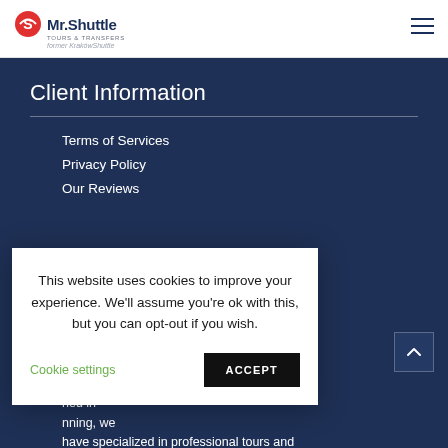Mr. Shuttle Tours & Transfers — former KrakówShuttle
Client Information
Terms of Services
Privacy Policy
Our Reviews
This website uses cookies to improve your experience. We'll assume you're ok with this, but you can opt-out if you wish.
Cookie settings | ACCEPT
a fully ned in nning, we have specialized in professional tours and